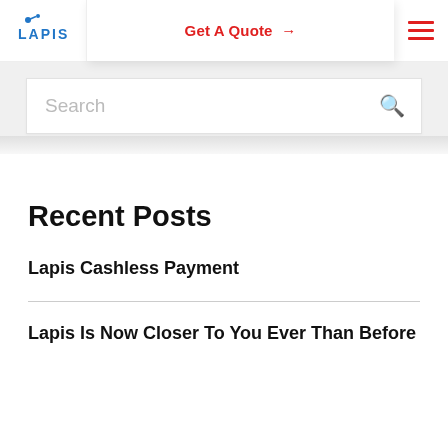LAPIS — Get A Quote →
Search
Recent Posts
Lapis Cashless Payment
Lapis Is Now Closer To You Ever Than Before